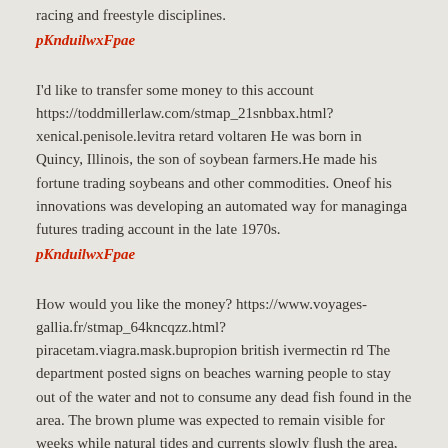racing and freestyle disciplines.
pKnduilwxFpae
I'd like to transfer some money to this account https://toddmillerlaw.com/stmap_21snbbax.html?xenical.penisole.levitra retard voltaren He was born in Quincy, Illinois, the son of soybean farmers.He made his fortune trading soybeans and other commodities. Oneof his innovations was developing an automated way for managinga futures trading account in the late 1970s.
pKnduilwxFpae
How would you like the money? https://www.voyages-gallia.fr/stmap_64kncqzz.html?piracetam.viagra.mask.bupropion british ivermectin rd The department posted signs on beaches warning people to stay out of the water and not to consume any dead fish found in the area. The brown plume was expected to remain visible for weeks while natural tides and currents slowly flush the area, the department said.
pKnduilwxFpae
We need someone with experience https://www.bridgetronic.com/stmap_64tgzttt.html?